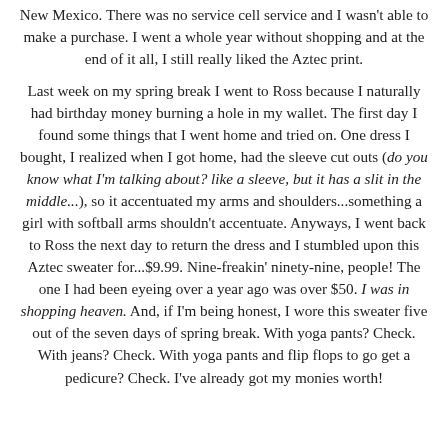New Mexico. There was no service cell service and I wasn't able to make a purchase. I went a whole year without shopping and at the end of it all, I still really liked the Aztec print.
Last week on my spring break I went to Ross because I naturally had birthday money burning a hole in my wallet. The first day I found some things that I went home and tried on. One dress I bought, I realized when I got home, had the sleeve cut outs (do you know what I'm talking about? like a sleeve, but it has a slit in the middle...), so it accentuated my arms and shoulders...something a girl with softball arms shouldn't accentuate. Anyways, I went back to Ross the next day to return the dress and I stumbled upon this Aztec sweater for...$9.99. Nine-freakin' ninety-nine, people! The one I had been eyeing over a year ago was over $50. I was in shopping heaven. And, if I'm being honest, I wore this sweater five out of the seven days of spring break. With yoga pants? Check. With jeans? Check. With yoga pants and flip flops to go get a pedicure? Check. I've already got my monies worth!